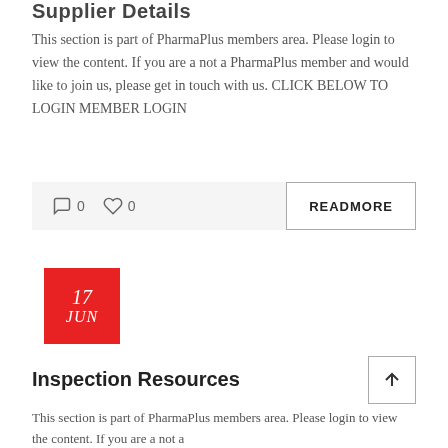Supplier Details
This section is part of PharmaPlus members area. Please login to view the content. If you are a not a PharmaPlus member and would like to join us, please get in touch with us. CLICK BELOW TO LOGIN MEMBER LOGIN
[Figure (other): Interaction bar with comment icon showing 0, heart/like icon showing 0, and a READMORE button on the right]
[Figure (other): Red date box showing '17 JUN' in white italic text]
Inspection Resources
This section is part of PharmaPlus members area. Please login to view the content. If you are a not a